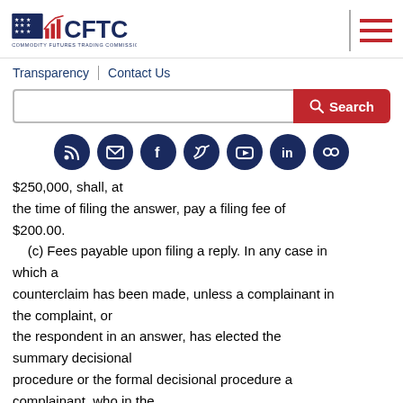[Figure (logo): CFTC - Commodity Futures Trading Commission logo with American flag icon and bar chart]
Transparency | Contact Us
the time of filing the answer, pay a filing fee of $200.00.
    (c) Fees payable upon filing a reply. In any case in which a counterclaim has been made, unless a complainant in the complaint, or the respondent in an answer, has elected the summary decisional procedure or the formal decisional procedure a complainant, who in the reply elects either of these procedures, shall, at the time of filing the reply, pay a filing fee of $75.00 or $200.00, respectively